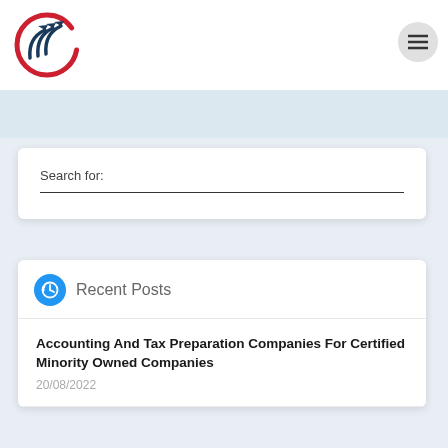[Figure (logo): Circular logo with red circle outline and dark blue upward arrows, financial company branding]
[Figure (other): Hamburger menu button (three horizontal lines) in a grey circle]
Search for:
Recent Posts
Accounting And Tax Preparation Companies For Certified Minority Owned Companies
20/08/2022